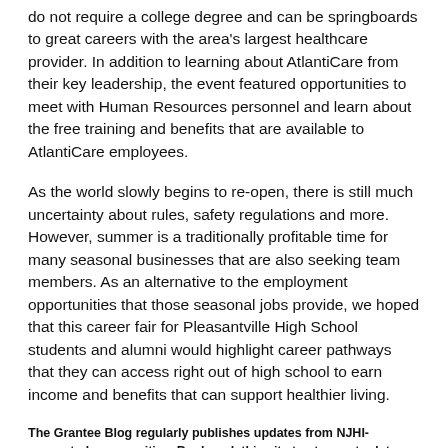do not require a college degree and can be springboards to great careers with the area's largest healthcare provider. In addition to learning about AtlantiCare from their key leadership, the event featured opportunities to meet with Human Resources personnel and learn about the free training and benefits that are available to AtlantiCare employees.
As the world slowly begins to re-open, there is still much uncertainty about rules, safety regulations and more. However, summer is a traditionally profitable time for many seasonal businesses that are also seeking team members. As an alternative to the employment opportunities that those seasonal jobs provide, we hoped that this career fair for Pleasantville High School students and alumni would highlight career pathways that they can access right out of high school to earn income and benefits that can support healthier living.
The Grantee Blog regularly publishes updates from NJHI-supported communities. Bookmark this site to stay up-to-date and share in the work of